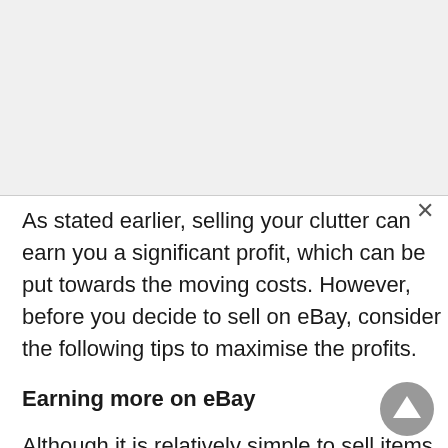As stated earlier, selling your clutter can earn you a significant profit, which can be put towards the moving costs. However, before you decide to sell on eBay, consider the following tips to maximise the profits.
Earning more on eBay
Although it is relatively simple to sell items on eBay, the following tips can help you score a larger profit.